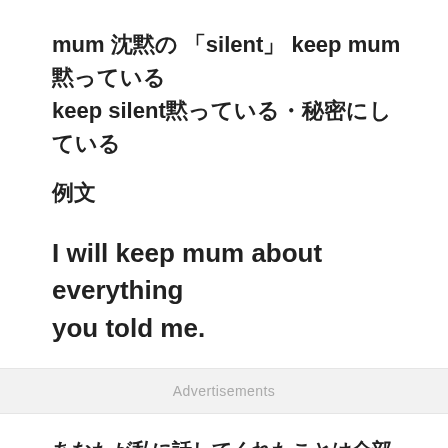mum 沈黙の 「silent」 keep mum 黙っている keep silent黙っている・秘密にしている
例文
I will keep mum about everything you told me.
Advertisements
あなたが私に話してくれたことは全部黙っておくよ。
[Figure (photo): Bottom portion of an image showing what appears to be a fluffy animal, partially cropped]